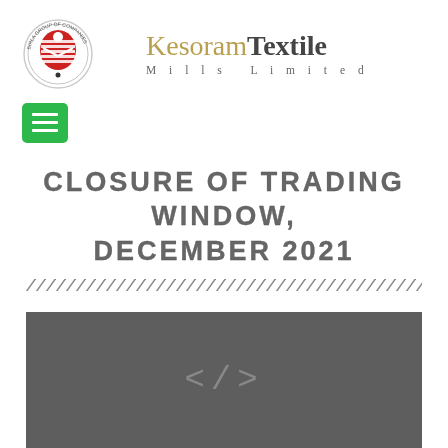[Figure (logo): Birla Group of Companies circular logo with red and white emblem]
Kesoram Textile Mills Limited
[Figure (other): Green hamburger menu button icon]
CLOSURE OF TRADING WINDOW, DECEMBER 2021
[Figure (other): Decorative diagonal stripe divider line]
[Figure (other): Dark gray panel with code symbol angle brackets]